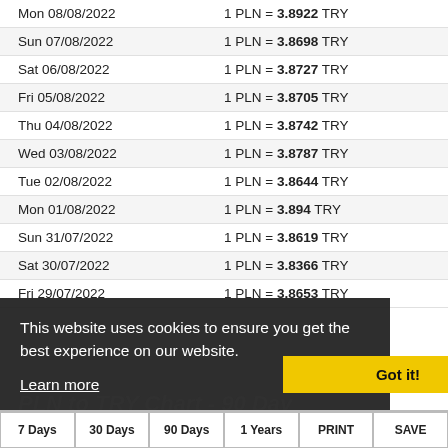| Date | Rate |
| --- | --- |
| Mon 08/08/2022 | 1 PLN = 3.8922 TRY |
| Sun 07/08/2022 | 1 PLN = 3.8698 TRY |
| Sat 06/08/2022 | 1 PLN = 3.8727 TRY |
| Fri 05/08/2022 | 1 PLN = 3.8705 TRY |
| Thu 04/08/2022 | 1 PLN = 3.8742 TRY |
| Wed 03/08/2022 | 1 PLN = 3.8787 TRY |
| Tue 02/08/2022 | 1 PLN = 3.8644 TRY |
| Mon 01/08/2022 | 1 PLN = 3.894 TRY |
| Sun 31/07/2022 | 1 PLN = 3.8619 TRY |
| Sat 30/07/2022 | 1 PLN = 3.8366 TRY |
| Fri 29/07/2022 | 1 PLN = 3.8653 TRY |
This website uses cookies to ensure you get the best experience on our website. Learn more
Got it!
PLN to TRY Chart - 90 Day Exchange Rate History
7 Days
30 Days
90 Days
1 Years
PRINT
SAVE